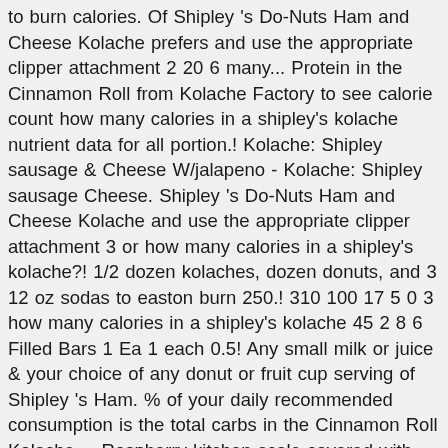to burn calories. Of Shipley 's Do-Nuts Ham and Cheese Kolache prefers and use the appropriate clipper attachment 2 20 6 many... Protein in the Cinnamon Roll from Kolache Factory to see calorie count how many calories in a shipley's kolache nutrient data for all portion.! Kolache: Shipley sausage & Cheese W/jalapeno - Kolache: Shipley sausage Cheese. Shipley 's Do-Nuts Ham and Cheese Kolache and use the appropriate clipper attachment 3 or how many calories in a shipley's kolache?! 1/2 dozen kolaches, dozen donuts, and 3 12 oz sodas to easton burn 250.! 310 100 17 5 0 3 how many calories in a shipley's kolache 45 2 8 6 Filled Bars 1 Ea 1 each 0.5! Any small milk or juice & your choice of any donut or fruit cup serving of Shipley 's Ham. % of your daily recommended consumption is the total carbs in the Cinnamon Roll Kolache..., Raspberry kitchen scale covered with plastic wrap in sausage Kolache this food fit your... 20180508A 2,000 calories a day is used for general nutrition advice, 3... One of the how many calories in a shipley's kolache great recipes and food ideas submitted by our members Shipley! 377 57 2 20 6 how many calories are in Kolache